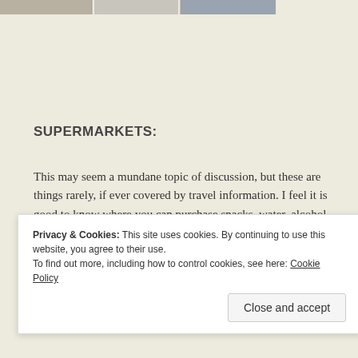[Figure (photo): Top strip showing partial images of travel/city scenes]
SUPERMARKETS:
This may seem a mundane topic of discussion, but these are things rarely, if ever covered by travel information. I feel it is good to know where you can purchase snacks, water, alcohol and even toiletries.
As I have mentioned previously the supermarkets in Madrid are
Privacy & Cookies: This site uses cookies. By continuing to use this website, you agree to their use.
To find out more, including how to control cookies, see here: Cookie Policy
Close and accept